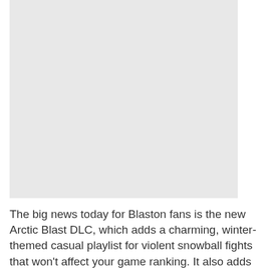[Figure (other): A large light gray rectangle placeholder image area]
The big news today for Blaston fans is the new Arctic Blast DLC, which adds a charming, winter-themed casual playlist for violent snowball fights that won't affect your game ranking. It also adds a new "Knockout!" tournament mode for 2 to 8 players, with